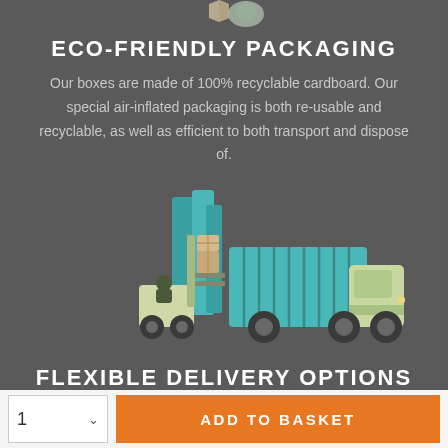[Figure (illustration): Partial view of eco-friendly packaging icons at the top of the page]
ECO-FRIENDLY PACKAGING
Our boxes are made of 100% recyclable cardboard. Our special air-inflated packaging is both re-usable and recyclable, as well as efficient to both transport and dispose of.
[Figure (illustration): Illustration of a forklift loading boxes into a delivery truck]
FLEXIBLE DELIVERY OPTIONS
We deliver to countries all over the world! You can also select express delivery, or pick a specific delivery date, at checkout.